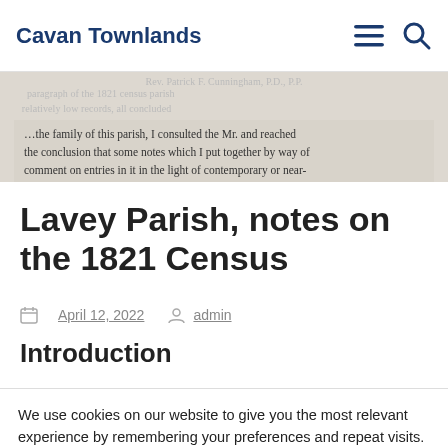Cavan Townlands
[Figure (screenshot): Scanned document text snippet showing partial sentences about the 1821 census parish, commentary notes, and reference to family in a parish. Background image of old document text.]
Lavey Parish, notes on the 1821 Census
April 12, 2022  admin
Introduction
We use cookies on our website to give you the most relevant experience by remembering your preferences and repeat visits. By clicking “Accept”, you consent to the use of ALL the cookies.
Cookie settings  ACCEPT